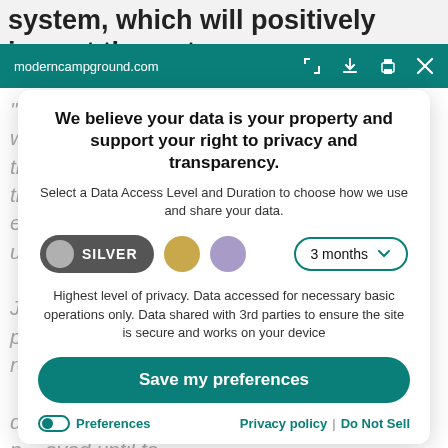system, which will positively impact the water
moderncampground.com
We believe your data is your property and support your right to privacy and transparency.
Select a Data Access Level and Duration to choose how we use and share your data.
SILVER   3 months
Highest level of privacy. Data accessed for necessary basic operations only. Data shared with 3rd parties to ensure the site is secure and works on your device
Save my preferences
Preferences   Privacy policy | Do Not Sell